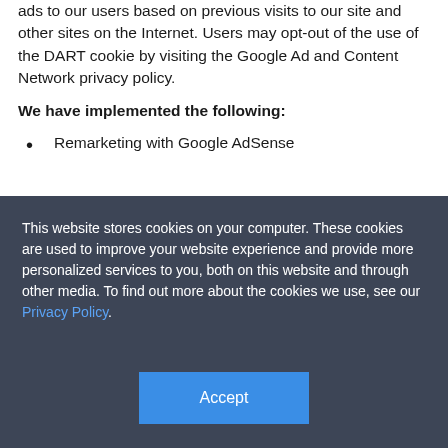ads to our users based on previous visits to our site and other sites on the Internet. Users may opt-out of the use of the DART cookie by visiting the Google Ad and Content Network privacy policy.
We have implemented the following:
Remarketing with Google AdSense
This website stores cookies on your computer. These cookies are used to improve your website experience and provide more personalized services to you, both on this website and through other media. To find out more about the cookies we use, see our Privacy Policy.
Accept